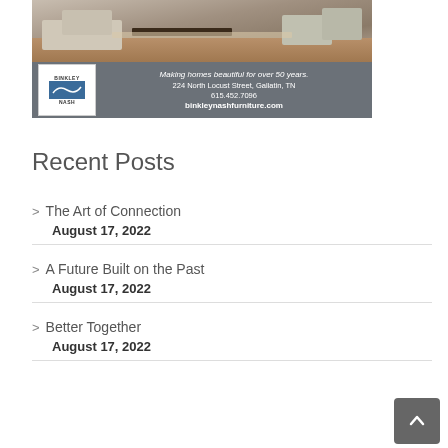[Figure (advertisement): Binkley Nash furniture advertisement with photo of living room and contact info: Making homes beautiful for over 50 years. 224 North Locust Street, Gallatin, TN 615.452.7096 binkleynashfurniture.com]
Recent Posts
The Art of Connection
August 17, 2022
A Future Built on the Past
August 17, 2022
Better Together
August 17, 2022